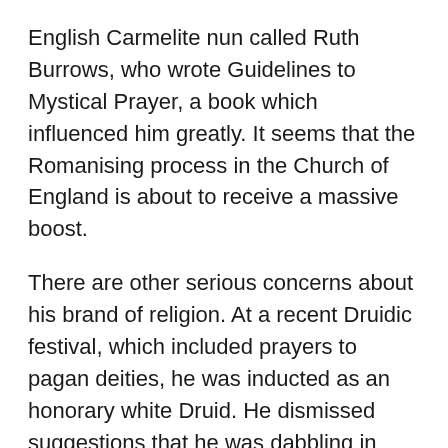English Carmelite nun called Ruth Burrows, who wrote Guidelines to Mystical Prayer, a book which influenced him greatly. It seems that the Romanising process in the Church of England is about to receive a massive boost.
There are other serious concerns about his brand of religion. At a recent Druidic festival, which included prayers to pagan deities, he was inducted as an honorary white Druid. He dismissed suggestions that he was dabbling in paganism, but a spokesman for the Evangelical Reform Group has rightly asked, “How will it help African bishops and pastors seeking to draw people away from paganism to follow Christ when they see him involved in this sort of activity?” We are also told that he watches the popular TV programme The Simpsons – “which treats Christianity as fair game . . . and regularly makes fun of Jesus Christ”, and he is fond of the TV comedy Father Ted “which certainly is not for all tastes or dignity